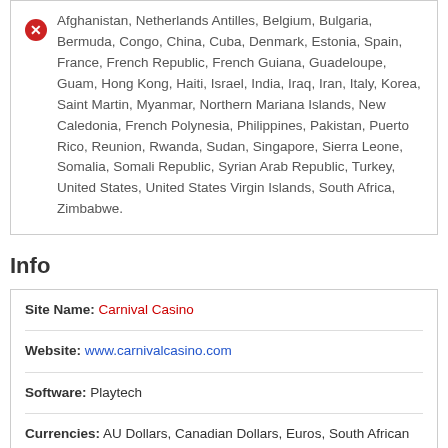Afghanistan, Netherlands Antilles, Belgium, Bulgaria, Bermuda, Congo, China, Cuba, Denmark, Estonia, Spain, France, French Republic, French Guiana, Guadeloupe, Guam, Hong Kong, Haiti, Israel, India, Iraq, Iran, Italy, Korea, Saint Martin, Myanmar, Northern Mariana Islands, New Caledonia, French Polynesia, Philippines, Pakistan, Puerto Rico, Reunion, Rwanda, Sudan, Singapore, Sierra Leone, Somalia, Somali Republic, Syrian Arab Republic, Turkey, United States, United States Virgin Islands, South Africa, Zimbabwe.
Info
| Field | Value |
| --- | --- |
| Site Name: | Carnival Casino |
| Website: | www.carnivalcasino.com |
| Software: | Playtech |
| Currencies: | AU Dollars, Canadian Dollars, Euros, South African Rand, Swedish Krona, U.K. Pounds, U.S. Dollars |
| Mobile Only Casino? | No |
| Support Options: | Live Chat, Email, Phone |
| Languages: | English, French, German, Italian, Japanese, |